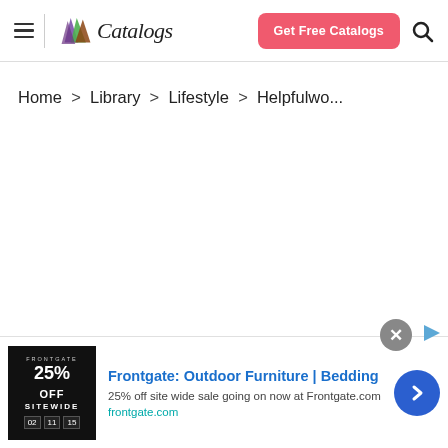Catalogs — Get Free Catalogs
Home > Library > Lifestyle > Helpful wo...
[Figure (screenshot): Advertisement banner for Frontgate outdoor furniture and bedding with '25% OFF SITEWIDE' promotional image, close button, and arrow navigation button. Text: 'Frontgate: Outdoor Furniture | Bedding', '25% off site wide sale going on now at Frontgate.com', 'frontgate.com']